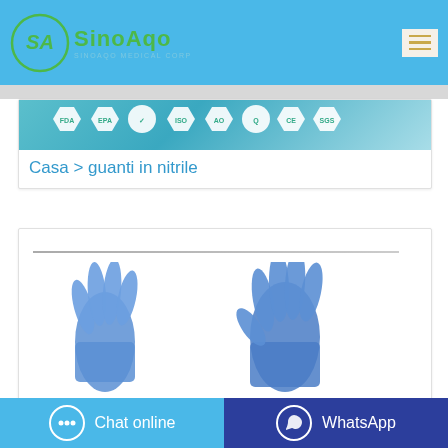[Figure (logo): SinoAqo Medical Corp logo — green circular emblem with 'SA' and green text 'SINOAQO' with subtitle 'SINOAQO MEDICAL CORP']
[Figure (photo): Certification badge banner showing FDA, EPA, and other regulatory certification hexagonal badges on a teal background]
Casa > guanti in nitrile
[Figure (photo): Photo of two blue nitrile gloves on a white background]
Chat online
WhatsApp